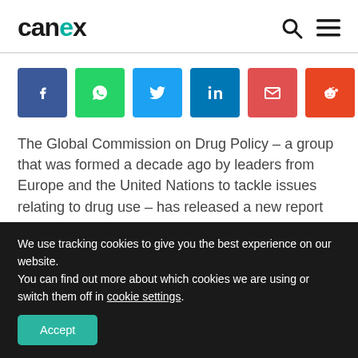canex
[Figure (other): Social sharing buttons: Facebook, WhatsApp, Twitter, LinkedIn, Email, Reddit]
The Global Commission on Drug Policy – a group that was formed a decade ago by leaders from Europe and the United Nations to tackle issues relating to drug use – has released a new report supporting an end to drug prohibition, among other recommendations.
We use tracking cookies to give you the best experience on our website.
You can find out more about which cookies we are using or switch them off in cookie settings.
Accept